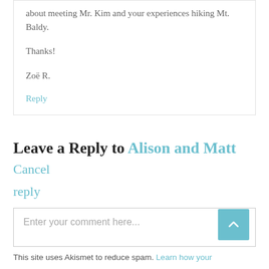about meeting Mr. Kim and your experiences hiking Mt. Baldy.

Thanks!

Zoë R.
Reply
Leave a Reply to Alison and Matt Cancel reply
[Figure (other): Comment text input box with placeholder text 'Enter your comment here...' and a teal scroll-to-top button]
This site uses Akismet to reduce spam. Learn how your